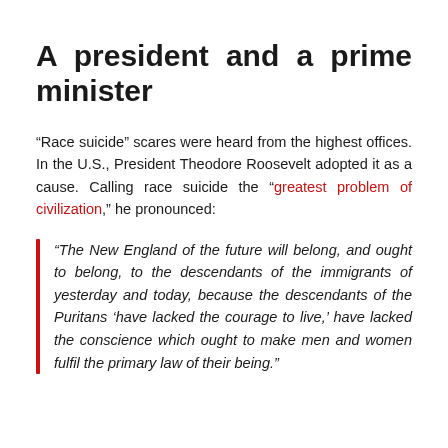A president and a prime minister
“Race suicide” scares were heard from the highest offices. In the U.S., President Theodore Roosevelt adopted it as a cause. Calling race suicide the “greatest problem of civilization,” he pronounced:
“The New England of the future will belong, and ought to belong, to the descendants of the immigrants of yesterday and today, because the descendants of the Puritans ‘have lacked the courage to live,’ have lacked the conscience which ought to make men and women fulfil the primary law of their being.”